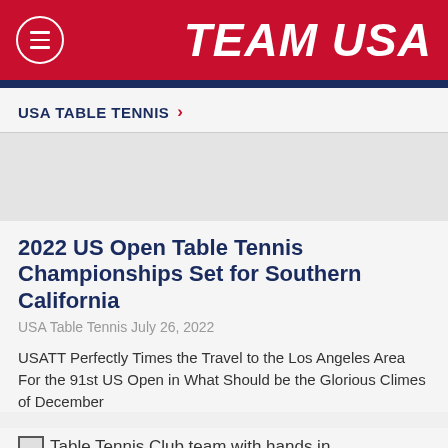TEAM USA
USA TABLE TENNIS >
2022 US Open Table Tennis Championships Set for Southern California
USA Table Tennis July 26, 2022
USATT Perfectly Times the Travel to the Los Angeles Area For the 91st US Open in What Should be the Glorious Climes of December
[Figure (photo): Table Tennis Club team with hands in.]